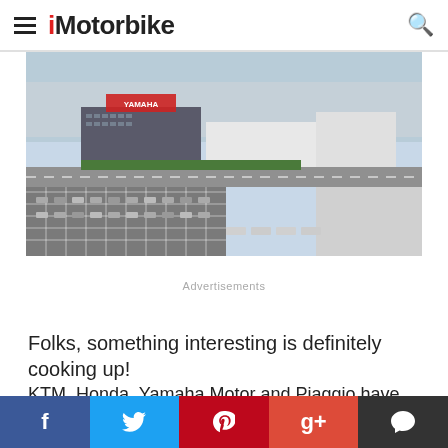iMotorbike
[Figure (photo): Aerial view of Yamaha Motor headquarters/factory complex, showing large building with Yamaha signage, parking lots, and surrounding industrial facilities]
Advertisements
Folks, something interesting is definitely cooking up!
KTM, Honda, Yamaha Motor and Piaggio have just
f  Twitter  Pinterest  Google+  Comment